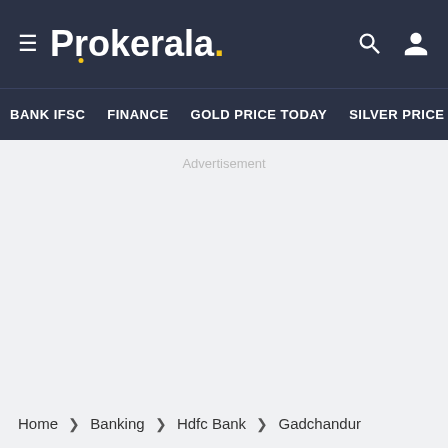Prokeraia. [navigation: BANK IFSC | FINANCE | GOLD PRICE TODAY | SILVER PRICE | CU...]
Advertisement
Home > Banking > Hdfc Bank > Gadchandur